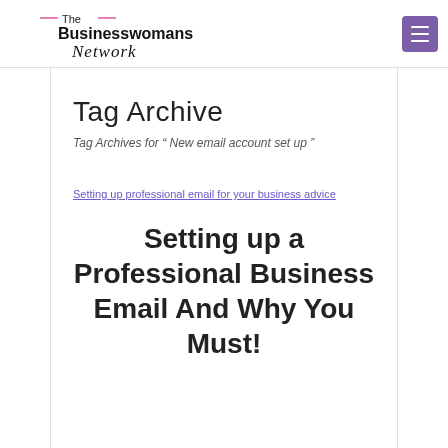The Businesswomans Network [logo] [menu button]
Tag Archive
Tag Archives for " New email account set up "
[Figure (screenshot): Image link placeholder text: Setting up professional email for your business advice]
Setting up a Professional Business Email And Why You Must!